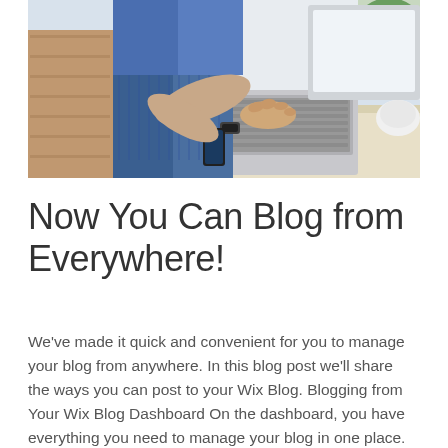[Figure (photo): Person leaning over a desk working on a laptop, wearing a denim jacket and watch. A smartphone is visible in their other hand. The desk surface is light wood/cream colored. Plants and other items visible in background.]
Now You Can Blog from Everywhere!
We've made it quick and convenient for you to manage your blog from anywhere. In this blog post we'll share the ways you can post to your Wix Blog. Blogging from Your Wix Blog Dashboard On the dashboard, you have everything you need to manage your blog in one place. You can create